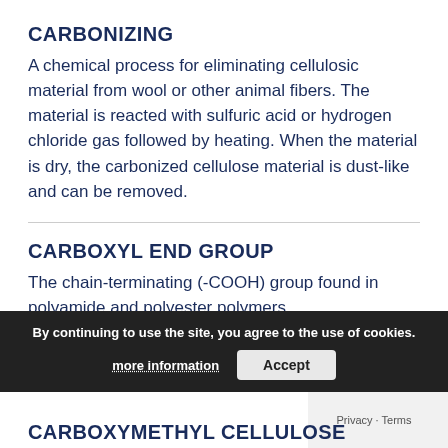CARBONIZING
A chemical process for eliminating cellulosic material from wool or other animal fibers. The material is reacted with sulfuric acid or hydrogen chloride gas followed by heating. When the material is dry, the carbonized cellulose material is dust-like and can be removed.
CARBOXYL END GROUP
The chain-terminating (-COOH) group found in polyamide and polyester polymers.
CARBOXYMETHYL CELLULOSE